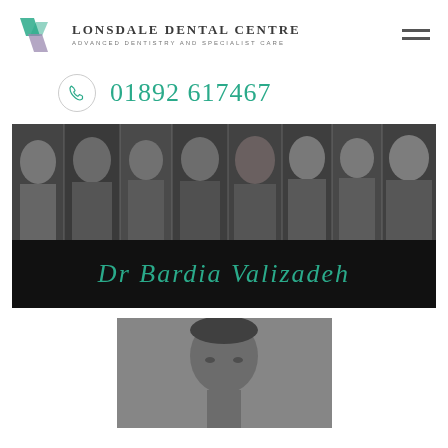Lonsdale Dental Centre — Advanced Dentistry and Specialist Care
01892 617467
[Figure (photo): Black and white strip photo showing multiple dental centre team members side by side]
Dr Bardia Valizadeh
[Figure (photo): Black and white portrait photo of Dr Bardia Valizadeh, a man with dark hair looking at the camera]